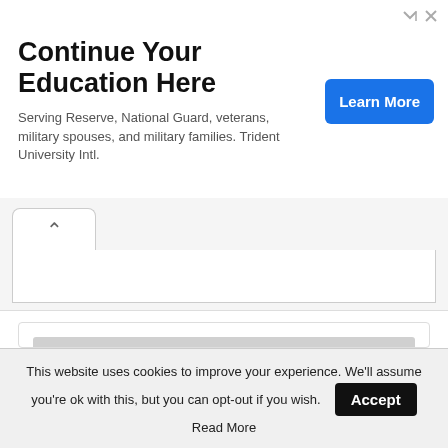[Figure (other): Advertisement banner for Trident University Intl with Learn More button]
Continue Your Education Here
Serving Reserve, National Guard, veterans, military spouses, and military families. Trident University Intl.
| Name | Price | 24H(%) |
| --- | --- | --- |
| Heart Number | $0.000553 | -30.47% |
| Tadpole | $7.32 | -1.76% |
| Cage | $0.005010 | -3.67% |
This website uses cookies to improve your experience. We'll assume you're ok with this, but you can opt-out if you wish.
Read More